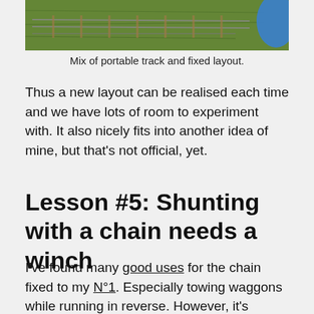[Figure (photo): Partial view of grass with portable track and fixed layout, blue object visible at top right corner.]
Mix of portable track and fixed layout.
Thus a new layout can be realised each time and we have lots of room to experiment with. It also nicely fits into another idea of mine, but that's not official, yet.
Lesson #5: Shunting with a chain needs a winch
I've found many good uses for the chain fixed to my N°1. Especially towing waggons while running in reverse. However, it's remarkably